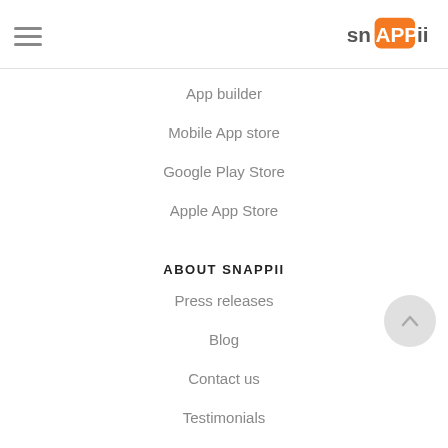Snappii logo and hamburger menu
App builder
Mobile App store
Google Play Store
Apple App Store
ABOUT SNAPPII
Press releases
Blog
Contact us
Testimonials
Case studies
Terms of Service